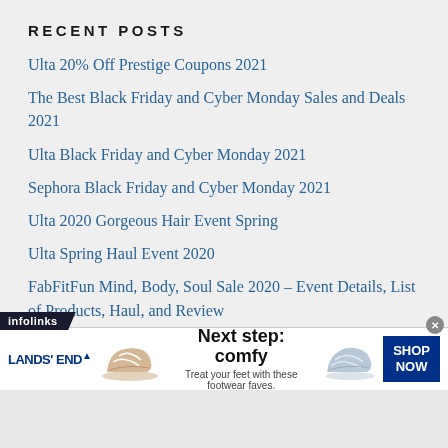RECENT POSTS
Ulta 20% Off Prestige Coupons 2021
The Best Black Friday and Cyber Monday Sales and Deals 2021
Ulta Black Friday and Cyber Monday 2021
Sephora Black Friday and Cyber Monday 2021
Ulta 2020 Gorgeous Hair Event Spring
Ulta Spring Haul Event 2020
FabFitFun Mind, Body, Soul Sale 2020 – Event Details, List of Products, Haul, and Review
Sephora Sun Safety Kit 2020 Review
[Figure (infographic): Lands' End advertisement banner showing sandals with text 'Next step: comfy. Treat your feet with these footwear faves.' and a SHOP NOW button. Infolinks label at top left.]